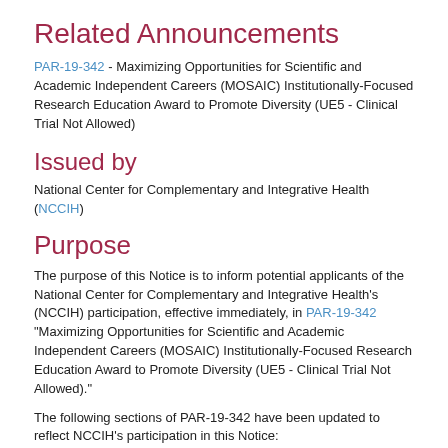Related Announcements
PAR-19-342 - Maximizing Opportunities for Scientific and Academic Independent Careers (MOSAIC) Institutionally-Focused Research Education Award to Promote Diversity (UE5 - Clinical Trial Not Allowed)
Issued by
National Center for Complementary and Integrative Health (NCCIH)
Purpose
The purpose of this Notice is to inform potential applicants of the National Center for Complementary and Integrative Health's (NCCIH) participation, effective immediately, in PAR-19-342 "Maximizing Opportunities for Scientific and Academic Independent Careers (MOSAIC) Institutionally-Focused Research Education Award to Promote Diversity (UE5 - Clinical Trial Not Allowed)."
The following sections of PAR-19-342 have been updated to reflect NCCIH's participation in this Notice: